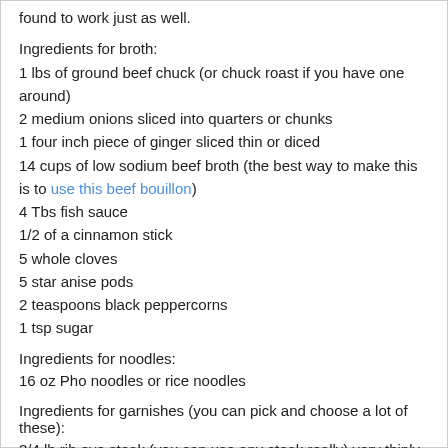found to work just as well.
Ingredients for broth:
1 lbs of ground beef chuck (or chuck roast if you have one around)
2 medium onions sliced into quarters or chunks
1 four inch piece of ginger sliced thin or diced
14 cups of low sodium beef broth (the best way to make this is to use this beef bouillon)
4 Tbs fish sauce
1/2 of a cinnamon stick
5 whole cloves
5 star anise pods
2 teaspoons black peppercorns
1 tsp sugar
Ingredients for noodles:
16 oz Pho noodles or rice noodles
Ingredients for garnishes (you can pick and choose a lot of these):
3/4 lb rib eye steak (you can use any steak really) very thinly sliced and lightly salted
1/4 cup fresh cilantro
1 quarter onion sliced thinly